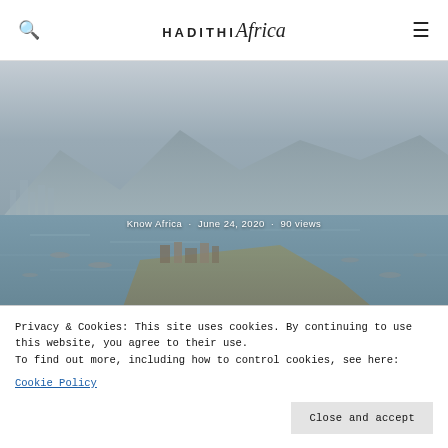HADITHI Africa
[Figure (photo): Aerial view of a coastal African city harbor with boats on blue-grey water, a peninsula with buildings, mountains in the background under overcast skies.]
Know Africa · June 24, 2020 · 90 views
Privacy & Cookies: This site uses cookies. By continuing to use this website, you agree to their use.
To find out more, including how to control cookies, see here:
Cookie Policy
Close and accept